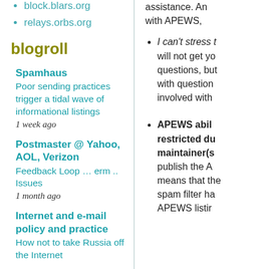block.blars.org
relays.orbs.org
blogroll
Spamhaus
Poor sending practices trigger a tidal wave of informational listings
1 week ago
Postmaster @ Yahoo, AOL, Verizon
Feedback Loop … erm .. Issues
1 month ago
Internet and e-mail policy and practice
How not to take Russia off the Internet
assistance. An with APEWS,
I can't stress t will not get yo questions, but with question involved with
APEWS abil restricted du maintainer(s publish the A means that the spam filter ha APEWS listir